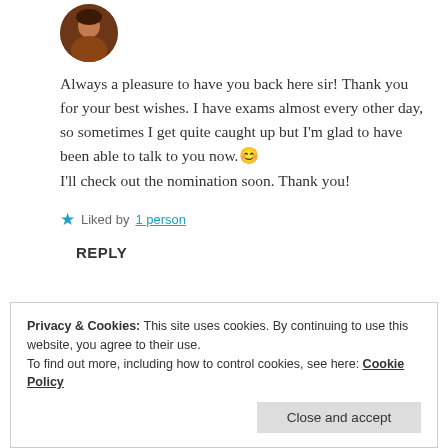[Figure (photo): Circular avatar photo of a person, shown cropped in a circle at top left]
Always a pleasure to have you back here sir! Thank you for your best wishes. I have exams almost every other day, so sometimes I get quite caught up but I'm glad to have been able to talk to you now.😊
I'll check out the nomination soon. Thank you!
★ Liked by 1 person
REPLY
Privacy & Cookies: This site uses cookies. By continuing to use this website, you agree to their use.
To find out more, including how to control cookies, see here: Cookie Policy
Close and accept